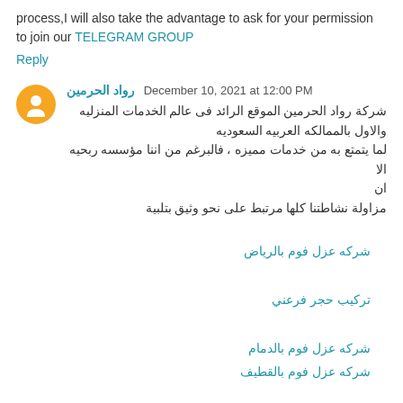process,I will also take the advantage to ask for your permission to join our TELEGRAM GROUP
Reply
رواد الحرمين December 10, 2021 at 12:00 PM
شركة رواد الحرمين الموقع الرائد فى عالم الخدمات المنزليه والاول بالممالكه العربيه السعوديه لما يتمتع به من خدمات مميزه ، فالبرغم من اننا مؤسسه ربحيه الا ان مزاولة نشاطتنا كلها مرتبط على نحو وثيق بتلبية
شركه عزل فوم بالرياض
تركيب حجر فرعني
شركه عزل فوم بالدمام
شركه عزل فوم بالقطيف